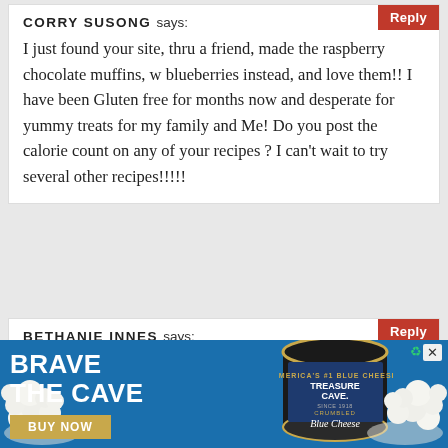CORRY SUSONG says:
I just found your site, thru a friend, made the raspberry chocolate muffins, w blueberries instead, and love them!! I have been Gluten free for months now and desperate for yummy treats for my family and Me! Do you post the calorie count on any of your recipes ? I can't wait to try several other recipes!!!!!
BETHANIE INNES says:
This is a wonderful recipe, we has it without the chocolate to lower the sugar content, and they are still wonderful.
[Figure (infographic): Advertisement banner for Treasure Cave Crumbled Blue Cheese with text BRAVE THE CAVE and BUY NOW button, blue background with popcorn decoration]